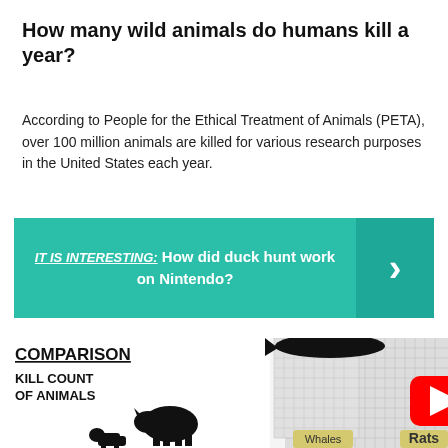How many wild animals do humans kill a year?
According to People for the Ethical Treatment of Animals (PETA), over 100 million animals are killed for various research purposes in the United States each year.
IT IS INTERESTING:  How did duck hunt work on Nintendo?
[Figure (infographic): Comparison infographic titled 'COMPARISON KILL COUNT OF ANIMALS' showing silhouettes of animals (whale on top of a large stacked cube, rhinoceros and smaller animal on smaller cubes) with a YouTube play button overlay. Partially visible label 'Whales' and 'Rats' at bottom.]